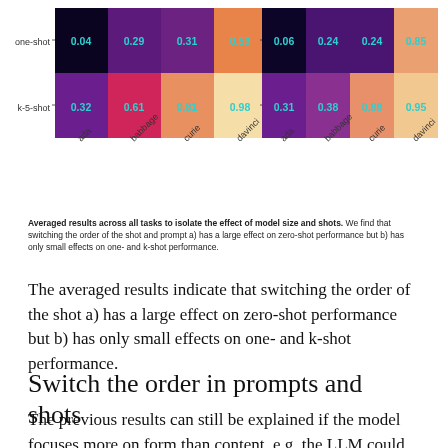[Figure (other): Two heatmaps side by side showing averaged results across tasks for model size (ada, babbage, curie, davinci) vs shots (one-shot, k-5-shot). Left heatmap values: one-shot row: 0.04, 0.29, 0.31, 0.59; k-5-shot row: 0.32, 0.61, 0.81, 0.98. Right heatmap values: one-shot row: 0.06, 0.24, 0.24, 0.85; k-5-shot row: 0.31, 0.38, 0.88, 0.95.]
Averaged results across all tasks to isolate the effect of model size and shots. We find that switching the order of the shot and prompt a) has a large effect on zero-shot performance but b) has only small effects on one- and k-shot performance.
The averaged results indicate that switching the order of the shot a) has a large effect on zero-shot performance but b) has only small effects on one- and k-shot performance.
Switch the order in prompts and shots
The previous results can still be explained if the model focuses more on form than content, e.g. the LLM could still learn to copy the second color it finds rather than trying to